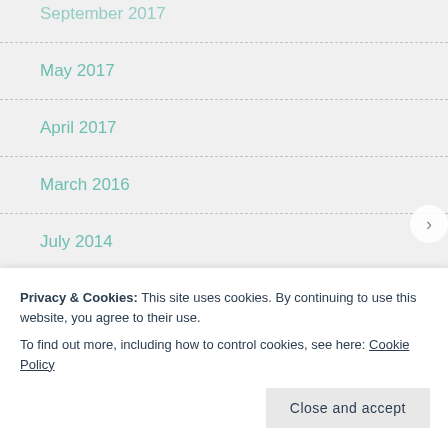September 2017
May 2017
April 2017
March 2016
July 2014
June 2014
February 2014
December 2013
Privacy & Cookies: This site uses cookies. By continuing to use this website, you agree to their use.
To find out more, including how to control cookies, see here: Cookie Policy
Close and accept